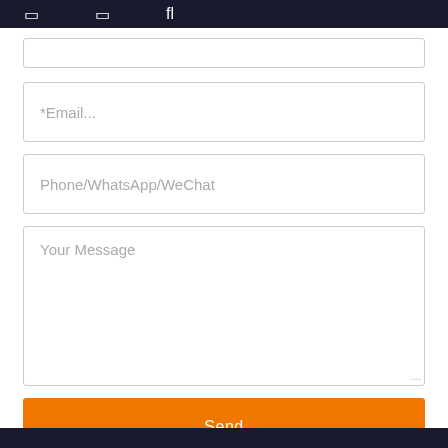[ ]  [ ]  fl
*Email...
Phone/WhatsApp/WeChat
Your Message
Send